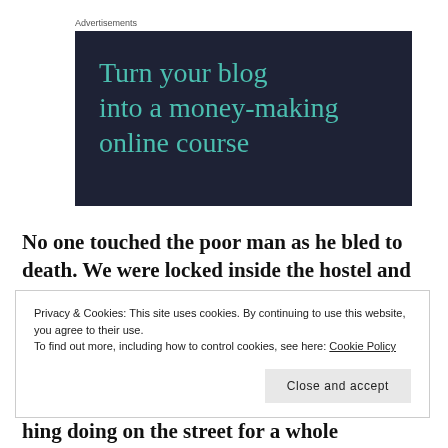Advertisements
[Figure (illustration): Dark navy advertisement banner with teal text reading 'Turn your blog into a money-making online course']
No one touched the poor man as he bled to death. We were locked inside the hostel and the street
Privacy & Cookies: This site uses cookies. By continuing to use this website, you agree to their use.
To find out more, including how to control cookies, see here: Cookie Policy
Close and accept
hing doing on the street for a whole